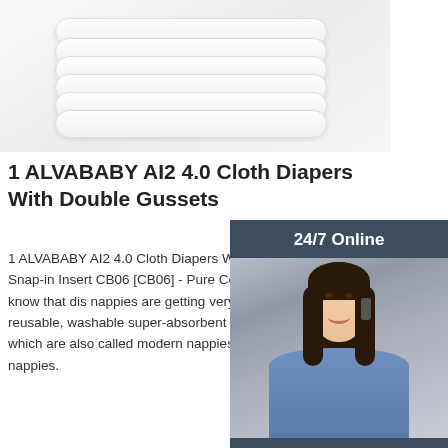[Figure (photo): Stack of white cloth diapers/inserts photographed from above, showing multiple layered rectangular fabric pads]
1 ALVABABY AI2 4.0 Cloth Diapers With Double Gussets
1 ALVABABY AI2 4.0 Cloth Diapers With Double Gussets with 1 Microfiber Snap-in Insert CB06 [CB06] - Pure Color AI2 DIAPER As we all know that disposable nappies are getting very expensive. Why not get reusable, washable super-absorbent and comfortable nappies diapers, which are also called modern cloth nappies (MCNs) or pocket nappies.
[Figure (photo): 24/7 Online customer service widget showing a woman with headset smiling, with a dark blue-gray background]
Click here for free chat !
QUOTATION
Get Price